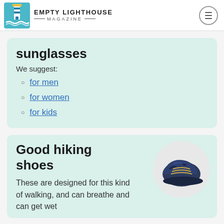EMPTY LIGHTHOUSE MAGAZINE
sunglasses
We suggest:
for men
for women
for kids
Good hiking shoes
[Figure (photo): Dark navy blue hiking shoe with straps and laces, viewed from above at an angle]
These are designed for this kind of walking, and can breathe and can get wet